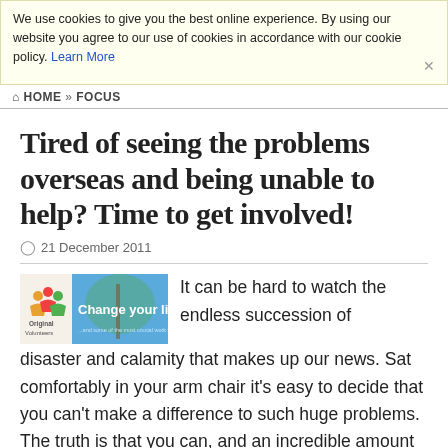We use cookies to give you the best online experience. By using our website you agree to our use of cookies in accordance with our cookie policy. Learn More
HOME » FOCUS
Tired of seeing the problems overseas and being unable to help? Time to get involved!
21 December 2011
[Figure (illustration): Original Volunteers banner with logo and text 'Change your life']
It can be hard to watch the endless succession of disaster and calamity that makes up our news. Sat comfortably in your arm chair it's easy to decide that you can't make a difference to such huge problems. The truth is that you can, and an incredible amount of positive life